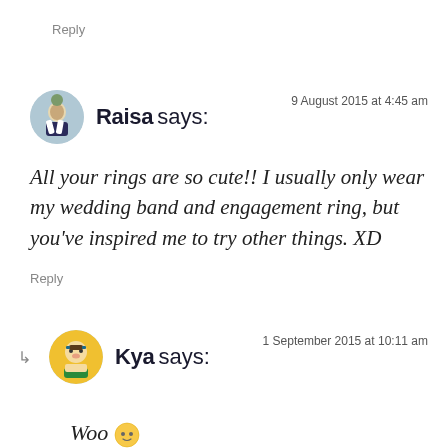Reply
Raisa says:
9 August 2015 at 4:45 am
All your rings are so cute!! I usually only wear my wedding band and engagement ring, but you've inspired me to try other things. XD
Reply
Kya says:
1 September 2015 at 10:11 am
Woo